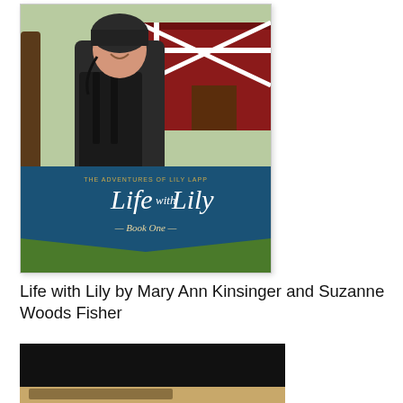[Figure (photo): Book cover of 'Life with Lily' (Book One of The Adventures of Lily Lapp series) by Mary Ann Kinsinger and Suzanne Woods Fisher. Shows an Amish girl in dark dress and bonnet holding a bucket, standing in front of a red barn. Blue banner with white text reads 'Life with Lily - Book One -'.]
Life with Lily by Mary Ann Kinsinger and Suzanne Woods Fisher
[Figure (photo): Partial view of a second book cover, mostly black with a tan/gold area visible at the bottom edge. Appears to show the beginning of large text.]